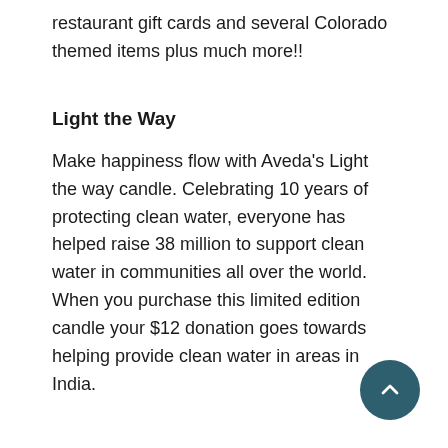restaurant gift cards and several Colorado themed items plus much more!!
Light the Way
Make happiness flow with Aveda's Light the way candle. Celebrating 10 years of protecting clean water, everyone has helped raise 38 million to support clean water in communities all over the world. When you purchase this limited edition candle your $12 donation goes towards helping provide clean water in areas in India.